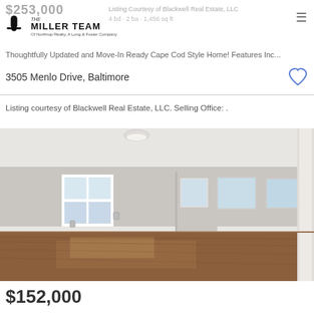$253,000 | The Miller Team of Northrop Realty, A Long & Foster Company | Listing Courtesy of Blackwell Real Estate, LLC
Thoughtfully Updated and Move-In Ready Cape Cod Style Home! Features Inc...
3505 Menlo Drive, Baltimore
Listing courtesy of Blackwell Real Estate, LLC. Selling Office: .
[Figure (photo): Interior photo of an empty room with gray walls, hardwood floors, ceiling light fixture, white windows, and a white column on the right side]
$152,000